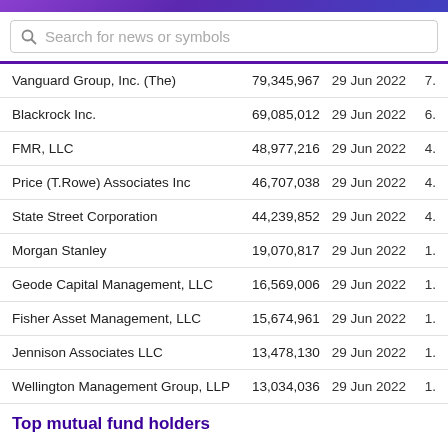Search for news or symbols
| Holder | Shares | Date Reported | % |
| --- | --- | --- | --- |
| Vanguard Group, Inc. (The) | 79,345,967 | 29 Jun 2022 | 7. |
| Blackrock Inc. | 69,085,012 | 29 Jun 2022 | 6. |
| FMR, LLC | 48,977,216 | 29 Jun 2022 | 4. |
| Price (T.Rowe) Associates Inc | 46,707,038 | 29 Jun 2022 | 4. |
| State Street Corporation | 44,239,852 | 29 Jun 2022 | 4. |
| Morgan Stanley | 19,070,817 | 29 Jun 2022 | 1. |
| Geode Capital Management, LLC | 16,569,006 | 29 Jun 2022 | 1. |
| Fisher Asset Management, LLC | 15,674,961 | 29 Jun 2022 | 1. |
| Jennison Associates LLC | 13,478,130 | 29 Jun 2022 | 1. |
| Wellington Management Group, LLP | 13,034,036 | 29 Jun 2022 | 1. |
Top mutual fund holders